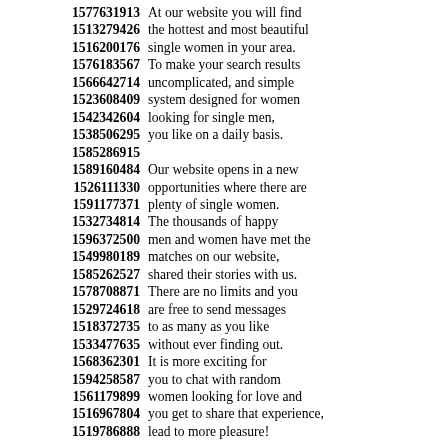1577631913 At our website you will find
1513279426 the hottest and most beautiful
1516200176 single women in your area.
1576183567 To make your search results
1566642714 uncomplicated, and simple
1523608409 system designed for women
1542342604 looking for single men,
1538506295 you like on a daily basis.
1585286915
1589160484 Our website opens in a new
1526111330 opportunities where there are
1591177371 plenty of single women.
1532734814 The thousands of happy
1596372500 men and women have met the
1549980189 matches on our website,
1585262527 shared their stories with us.
1578708871 There are no limits and you
1529724618 are free to send messages
1518372735 to as many as you like
1533477635 without ever finding out.
1568362301 It is more exciting for
1594258587 you to chat with random
1561179899 women looking for love and
1516967804 you get to share that experience,
1519786888 lead to more pleasure!